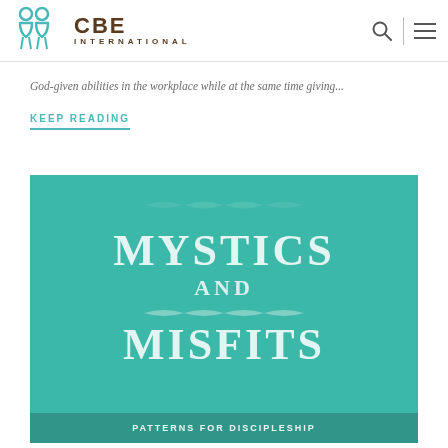CBE International
God-given abilities in the workplace while at the same time giving...
KEEP READING
[Figure (illustration): Book cover for 'Mystics and Misfits' on a teal/green background with large white serif text]